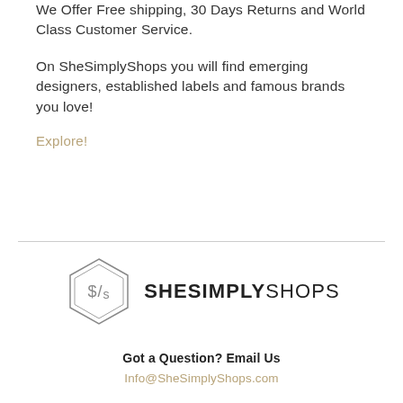We Offer Free shipping, 30 Days Returns and World Class Customer Service.
On SheSimplyShops you will find emerging designers, established labels and famous brands you love!
Explore!
[Figure (logo): SheSimplyShops logo with hexagon icon containing S/s and bold text SHESIMPLYSHOPS]
Got a Question? Email Us
Info@SheSimplyShops.com